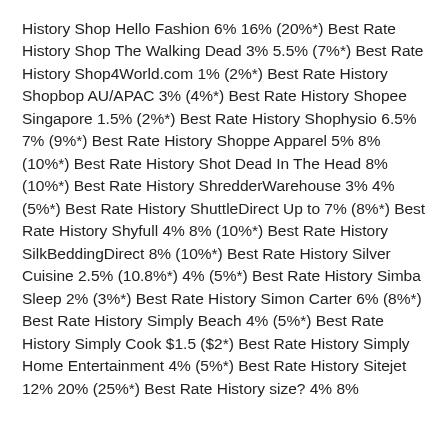History Shop Hello Fashion 6% 16% (20%*) Best Rate History Shop The Walking Dead 3% 5.5% (7%*) Best Rate History Shop4World.com 1% (2%*) Best Rate History Shopbop AU/APAC 3% (4%*) Best Rate History Shopee Singapore 1.5% (2%*) Best Rate History Shophysio 6.5% 7% (9%*) Best Rate History Shoppe Apparel 5% 8% (10%*) Best Rate History Shot Dead In The Head 8% (10%*) Best Rate History ShredderWarehouse 3% 4% (5%*) Best Rate History ShuttleDirect Up to 7% (8%*) Best Rate History Shyfull 4% 8% (10%*) Best Rate History SilkBeddingDirect 8% (10%*) Best Rate History Silver Cuisine 2.5% (10.8%*) 4% (5%*) Best Rate History Simba Sleep 2% (3%*) Best Rate History Simon Carter 6% (8%*) Best Rate History Simply Beach 4% (5%*) Best Rate History Simply Cook $1.5 ($2*) Best Rate History Simply Home Entertainment 4% (5%*) Best Rate History Sitejet 12% 20% (25%*) Best Rate History size? 4% 8%